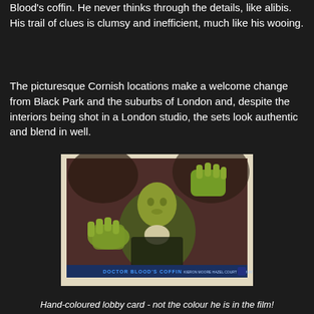Blood's coffin. He never thinks through the details, like alibis. His trail of clues is clumsy and inefficient, much like his wooing.
The picturesque Cornish locations make a welcome change from Black Park and the suburbs of London and, despite the interiors being shot in a London studio, the sets look authentic and blend in well.
[Figure (photo): Hand-coloured lobby card for 'Doctor Blood's Coffin' showing a man with green-tinted skin and hands outstretched towards the camera in a dramatic horror pose, wearing a suit. The bottom of the card reads 'DOCTOR BLOOD'S COFFIN' with cast/crew credits.]
Hand-coloured lobby card - not the colour he is in the film!